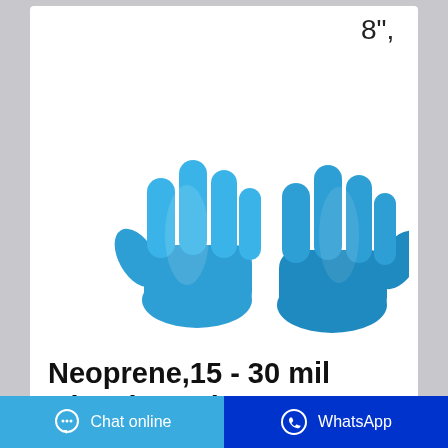8",
[Figure (photo): Two blue nitrile/neoprene glovebox gloves shown side by side on white background]
Neoprene,15 - 30 mil Glovebox Glove, 32", Smooth ...
8", Neoprene,15 - 30 mil Glovebox Glove, 32", Smooth Finish. Neoprene Vapor Protective Glovebox Gloves. $210.00 — $240.00
Chat online  WhatsApp